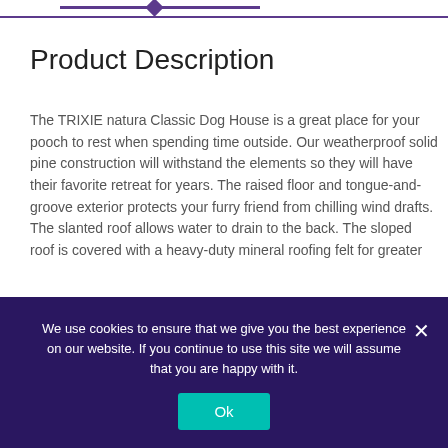Product Description
The TRIXIE natura Classic Dog House is a great place for your pooch to rest when spending time outside. Our weatherproof solid pine construction will withstand the elements so they will have their favorite retreat for years. The raised floor and tongue-and-groove exterior protects your furry friend from chilling wind drafts. The slanted roof allows water to drain to the back. The sloped roof is covered with a heavy-duty mineral roofing felt for greater protection against mother nature. Integral designed legs lift the strong floor off the ground to
We use cookies to ensure that we give you the best experience on our website. If you continue to use this site we will assume that you are happy with it.
Ok